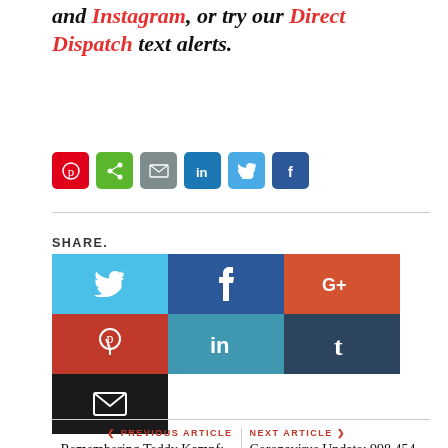and Instagram, or try our Direct Dispatch text alerts.
[Figure (infographic): Row of small social media sharing icons: Pinterest (red), share (green), email (grey), LinkedIn (blue), Twitter (light blue), Facebook (dark blue)]
SHARE.
[Figure (infographic): Row of large social sharing buttons: Twitter (blue), Facebook (dark blue), Google+ (orange-red), Pinterest (red), LinkedIn (teal), Tumblr (dark teal), Email (dark)]
← PREVIOUS ARTICLE
Remembering Teddy Kampf: Remains of Oaklyn Man Discovered in Yukon, Canada After 40 H...
NEXT ARTICLE →
Coronavirus Update: 998,454 Infections, 24,559 Related Deaths; NJ Launches 'Return and Excel Job...